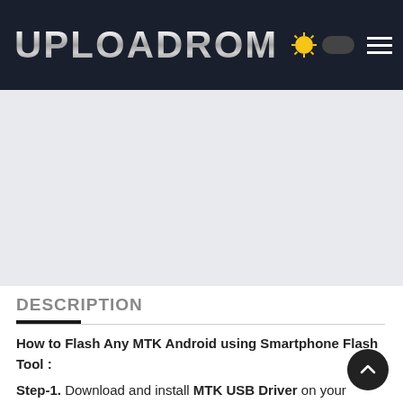UPLOADROM
[Figure (other): Gray advertisement placeholder area]
DESCRIPTION
How to Flash Any MTK Android using Smartphone Flash Tool :
Step-1. Download and install MTK USB Driver on your computer or laptop. In case you have already installed Android Driver on your PC/Laptop then Skip this step.